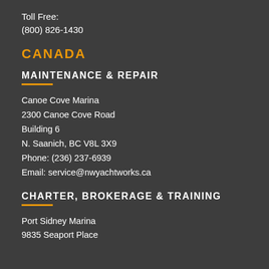Toll Free:
(800) 826-1430
CANADA
MAINTENANCE & REPAIR
Canoe Cove Marina
2300 Canoe Cove Road
Building 6
N. Saanich, BC V8L 3X9
Phone: (236) 237-6939
Email: service@nwyachtworks.ca
CHARTER, BROKERAGE & TRAINING
Port Sidney Marina
9835 Seaport Place